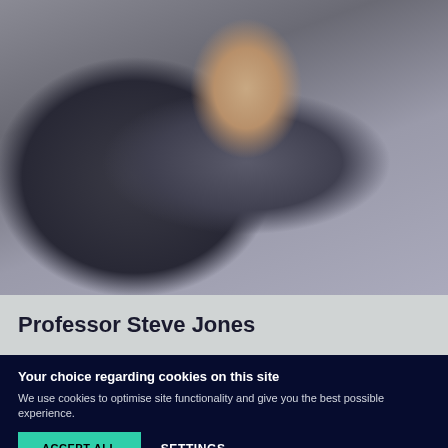[Figure (photo): Portrait photo of an older man in a dark blazer and light blue shirt, looking at the camera with a neutral expression, against a grey background.]
Professor Steve Jones
Your choice regarding cookies on this site
We use cookies to optimise site functionality and give you the best possible experience.
ACCEPT ALL
SETTINGS